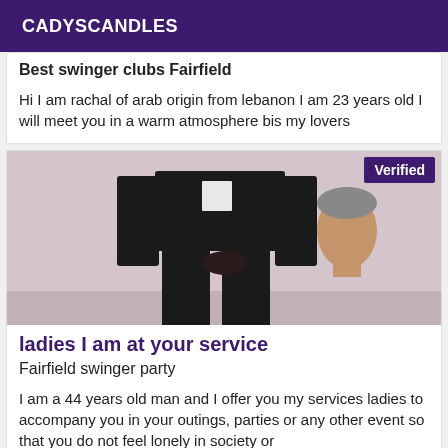CADYSCANDLES
Best swinger clubs Fairfield
Hi I am rachal of arab origin from lebanon I am 23 years old I will meet you in a warm atmosphere bis my lovers
[Figure (photo): Person standing in a dark suit against a light wall, with a 'Verified' badge in the top right corner]
ladies I am at your service
Fairfield swinger party
I am a 44 years old man and I offer you my services ladies to accompany you in your outings, parties or any other event so that you do not feel lonely in society or